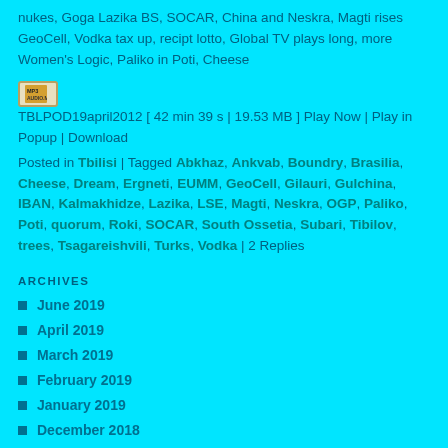nukes, Goga Lazika BS, SOCAR, China and Neskra, Magti rises GeoCell, Vodka tax up, recipt lotto, Global TV plays long, more Women's Logic, Paliko in Poti, Cheese
TBLPOD19april2012 [ 42 min 39 s | 19.53 MB ] Play Now | Play in Popup | Download
Posted in Tbilisi | Tagged Abkhaz, Ankvab, Boundry, Brasilia, Cheese, Dream, Ergneti, EUMM, GeoCell, Gilauri, Gulchina, IBAN, Kalmakhidze, Lazika, LSE, Magti, Neskra, OGP, Paliko, Poti, quorum, Roki, SOCAR, South Ossetia, Subari, Tibilov, trees, Tsagareishvili, Turks, Vodka | 2 Replies
ARCHIVES
June 2019
April 2019
March 2019
February 2019
January 2019
December 2018
November 2018